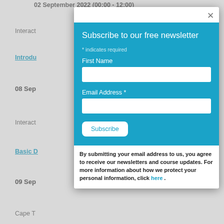02 September 2022 (00:00 - 12:00)
Interact
Introdu
08 Sep
Interact
Basic D
09 Sep
Cape T
15 Sep
Interact
The Oh
15 Sep
Interact
16 Sep
Empero
Negotia
22 Sep
[Figure (screenshot): Modal dialog for newsletter subscription with blue panel containing First Name and Email Address fields and a Subscribe button. Below the blue panel is bold disclaimer text about email submission policy with a 'here' link.]
Subscribe to our free newsletter
* indicates required
First Name
Email Address *
Subscribe
By submitting your email address to us, you agree to receive our newsletters and course updates. For more information about how we protect your personal information, click here .